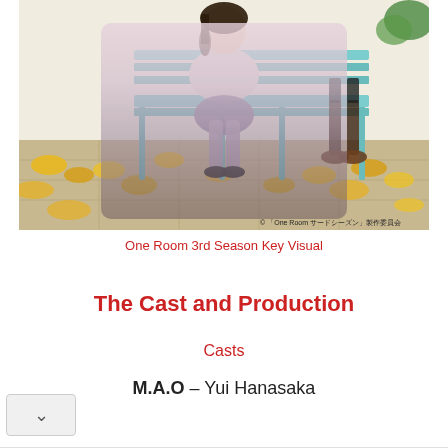[Figure (illustration): Anime key visual for One Room 3rd Season showing a female character sitting on a teal bench surrounded by yellow autumn leaves (ginkgo). Copyright text reads: © 「One Room サードシーズン」製作委員会]
One Room 3rd Season Key Visual
The Cast and Production
Casts
M.A.O – Yui Hanasaka